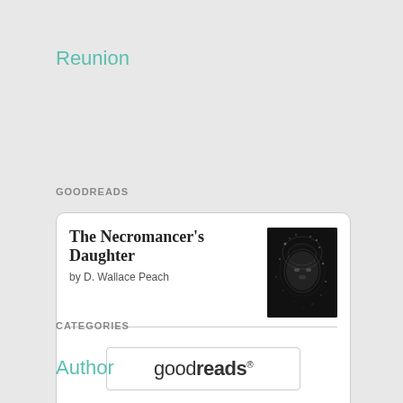Reunion
GOODREADS
[Figure (screenshot): Goodreads widget card showing book 'The Necromancer's Daughter' by D. Wallace Peach, with a dark book cover image on the right and a goodreads button at the bottom.]
CATEGORIES
Author